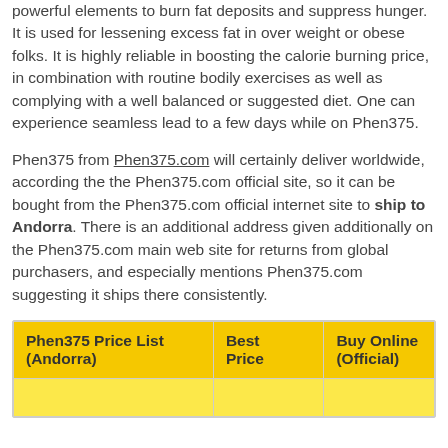powerful elements to burn fat deposits and suppress hunger. It is used for lessening excess fat in over weight or obese folks. It is highly reliable in boosting the calorie burning price, in combination with routine bodily exercises as well as complying with a well balanced or suggested diet. One can experience seamless lead to a few days while on Phen375.
Phen375 from Phen375.com will certainly deliver worldwide, according the the Phen375.com official site, so it can be bought from the Phen375.com official internet site to ship to Andorra. There is an additional address given additionally on the Phen375.com main web site for returns from global purchasers, and especially mentions Phen375.com suggesting it ships there consistently.
| Phen375 Price List (Andorra) | Best Price | Buy Online (Official) |
| --- | --- | --- |
|  |  |  |